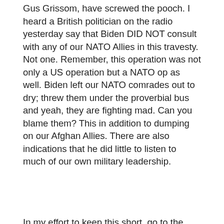Gus Grissom, have screwed the pooch. I heard a British politician on the radio yesterday say that Biden DID NOT consult with any of our NATO Allies in this travesty. Not one. Remember, this operation was not only a US operation but a NATO op as well. Biden left our NATO comrades out to dry; threw them under the proverbial bus and yeah, they are fighting mad. Can you blame them? This in addition to dumping on our Afghan Allies. There are also indications that he did little to listen to much of our own military leadership.
In my effort to keep this short, go to the following website and look at all the weapons we likely left behind for Taliban to use. It is enough to make you sick - - guns, ammo, vehicles, aircraft, communications equipment, drones (not on this list), and more. (taskandpurpose.com/news/taliban-weapons-afghanistan/). Not only did we leave behind these weapons, Biden left behind American honor, respect and trust with our Allies. Be sure North Korea, Iran,